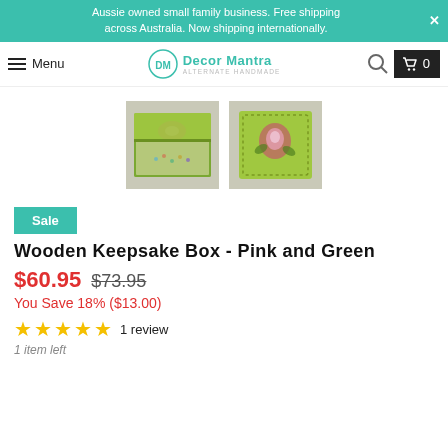Aussie owned small family business. Free shipping across Australia. Now shipping internationally.
Menu  |  Decor Mantra  |  Search  |  Cart 0
[Figure (photo): Two product photos of a Wooden Keepsake Box in pink and green, one open and one closed]
Sale
Wooden Keepsake Box - Pink and Green
$60.95  $73.95
You Save 18% ($13.00)
★★★★★ 1 review
1 item left